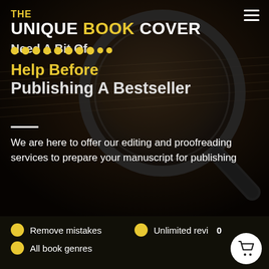[Figure (screenshot): Website hero section with dark book/magnifying glass background image overlay]
THE UNIQUE BOOK COVER
Need A Bit Of
Help Before
Publishing A Bestseller
We are here to offer our editing and proofreading services to prepare your manuscript for publishing
Remove mistakes
All book genres
Unlimited revi 0